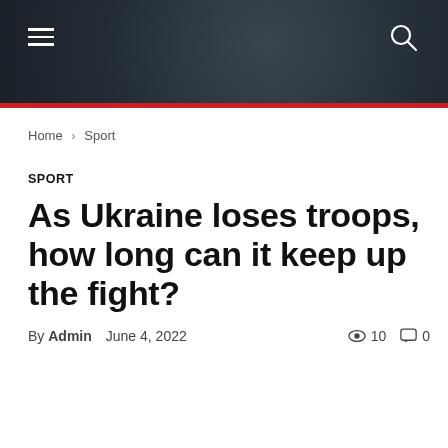Navigation header bar with hamburger menu and search icon
Home › Sport
SPORT
As Ukraine loses troops, how long can it keep up the fight?
By Admin  June 4, 2022  👁 10  💬 0